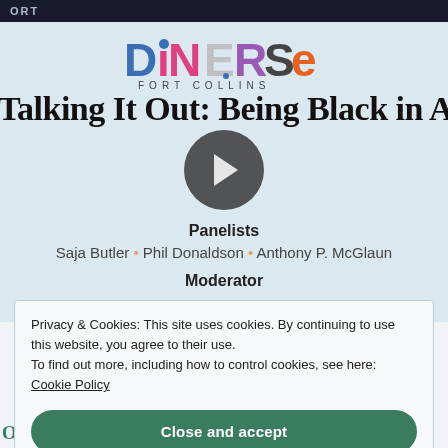ORT
[Figure (logo): DiNERSe Fort Collins colorful logo with stylized text]
Talking It Out: Being Black in America
[Figure (screenshot): Video play button overlay on the title]
Panelists
Saja Butler • Phil Donaldson • Anthony P. McGlaun
Moderator
Privacy & Cookies: This site uses cookies. By continuing to use this website, you agree to their use. To find out more, including how to control cookies, see here: Cookie Policy
Close and accept
Out: Being Black In America"